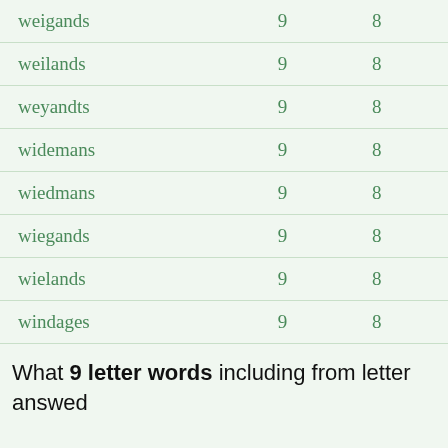| weigands | 9 | 8 |
| weilands | 9 | 8 |
| weyandts | 9 | 8 |
| widemans | 9 | 8 |
| wiedmans | 9 | 8 |
| wiegands | 9 | 8 |
| wielands | 9 | 8 |
| windages | 9 | 8 |
What 9 letter words including from letter answed